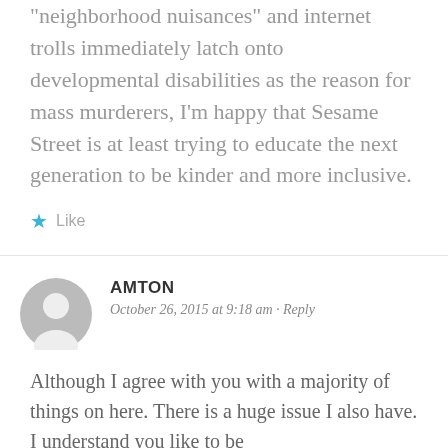“neighborhood nuisances” and internet trolls immediately latch onto developmental disabilities as the reason for mass murderers, I’m happy that Sesame Street is at least trying to educate the next generation to be kinder and more inclusive.
★ Like
AMTON
October 26, 2015 at 9:18 am · Reply
Although I agree with you with a majority of things on here. There is a huge issue I also have. I understand you like to be